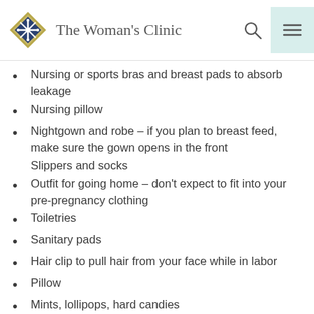The Woman's Clinic
Nursing or sports bras and breast pads to absorb leakage
Nursing pillow
Nightgown and robe – if you plan to breast feed, make sure the gown opens in the front
Slippers and socks
Outfit for going home – don't expect to fit into your pre-pregnancy clothing
Toiletries
Sanitary pads
Hair clip to pull hair from your face while in labor
Pillow
Mints, lollipops, hard candies